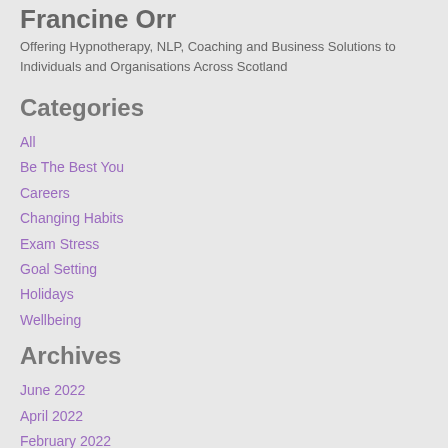Francine Orr
Offering Hypnotherapy, NLP, Coaching and Business Solutions to Individuals and Organisations Across Scotland
Categories
All
Be The Best You
Careers
Changing Habits
Exam Stress
Goal Setting
Holidays
Wellbeing
Archives
June 2022
April 2022
February 2022
December 2021
October 2021